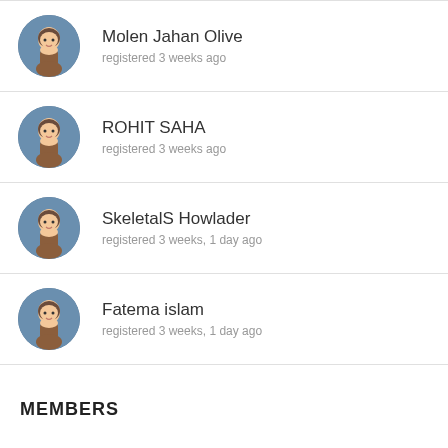Molen Jahan Olive
registered 3 weeks ago
ROHIT SAHA
registered 3 weeks ago
SkeletalS Howlader
registered 3 weeks, 1 day ago
Fatema islam
registered 3 weeks, 1 day ago
MEMBERS